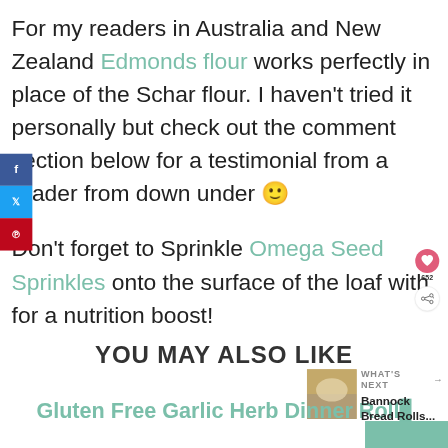For my readers in Australia and New Zealand Edmonds flour works perfectly in place of the Schar flour. I haven't tried it personally but check out the comment section below for a testimonial from a reader from down under 🙂
Don't forget to Sprinkle Omega Seed Sprinkles onto the surface of the loaf with for a nutrition boost!
YOU MAY ALSO LIKE
[Figure (photo): Thumbnail image for Bannock Bread Rolls article with WHAT'S NEXT label]
Gluten Free Garlic Herb Dinner Rolls